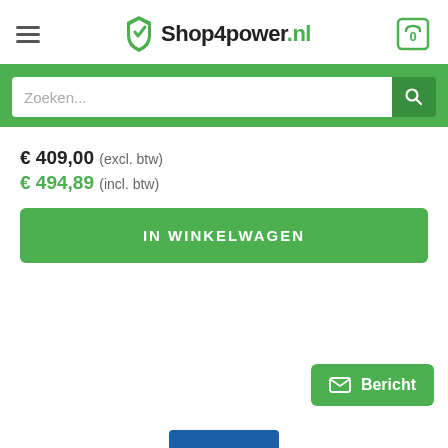Shop4power.nl
Zoeken...
€ 409,00 (excl. btw)
€ 494,89 (incl. btw)
IN WINKELWAGEN
Bericht